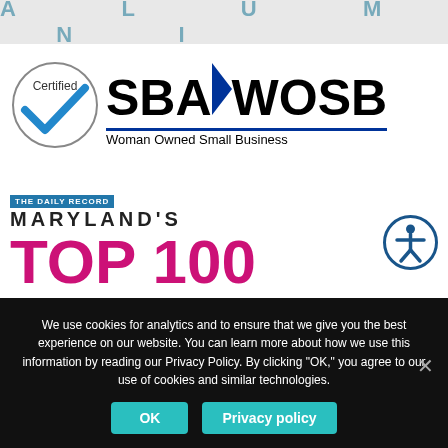[Figure (illustration): Alumni banner with large spaced letters on grey background]
[Figure (logo): SBA WOSB Certified Woman Owned Small Business logo with checkmark circle]
[Figure (logo): The Daily Record Maryland's Top 100 Women logo with accessibility icon]
We use cookies for analytics and to ensure that we give you the best experience on our website. You can learn more about how we use this information by reading our Privacy Policy. By clicking "OK," you agree to our use of cookies and similar technologies.
OK
Privacy policy